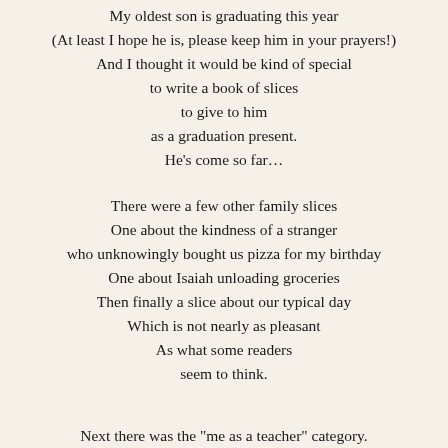My oldest son is graduating this year
(At least I hope he is, please keep him in your prayers!)
And I thought it would be kind of special
to write a book of slices
to give to him
as a graduation present.
He's come so far…
There were a few other family slices
One about the kindness of a stranger
who unknowingly bought us pizza for my birthday
One about Isaiah unloading groceries
Then finally a slice about our typical day
Which is not nearly as pleasant
As what some readers
seem to think.
Next there was the "me as a teacher" category.
I did some classroom slices.
Two about the process of saying goodbye to my students,
One "character" sketch
One about the John Hammon... that the next chapter...